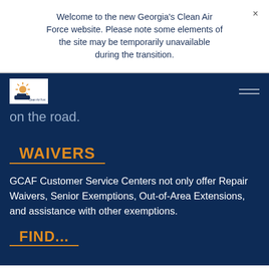Welcome to the new Georgia's Clean Air Force website. Please note some elements of the site may be temporarily unavailable during the transition.
[Figure (logo): Georgia's Clean Air Force logo — small icon with sun/rays graphic and text below]
on the road.
WAIVERS
GCAF Customer Service Centers not only offer Repair Waivers, Senior Exemptions, Out-of-Area Extensions, and assistance with other exemptions.
FIND...